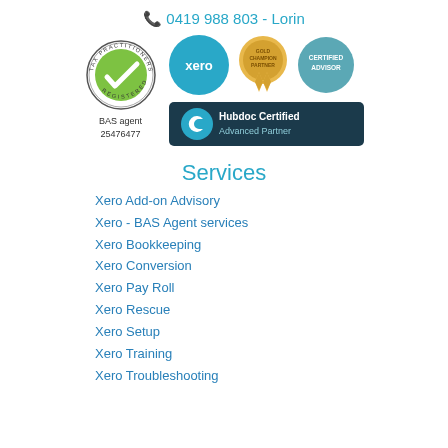0419 988 803 - Lorin
[Figure (logo): Tax Practitioners Board Registered logo (circular green/white badge), Xero logo (cyan circle), Xero Gold Champion Partner badge (yellow), Xero Certified Advisor badge (teal), Hubdoc Certified Advanced Partner badge (dark teal rectangle)]
BAS agent
25476477
Services
Xero Add-on Advisory
Xero - BAS Agent services
Xero Bookkeeping
Xero Conversion
Xero Pay Roll
Xero Rescue
Xero Setup
Xero Training
Xero Troubleshooting